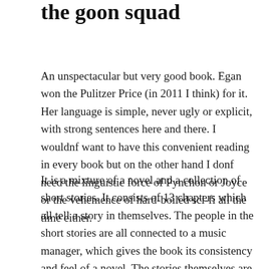the goon squad
An unspectacular but very good book. Egan won the Pulitzer Price (in 2011 I think) for it. Her language is simple, never ugly or explicit, with strong sentences here and there. I wouldnf want to have this convenient reading in every book but on the other hand I donf need the linguistic force of Pynchon or Joyce or the vehemence of hard-boiled sci-fi all the time either.
It is a mixture of a novel and a collection of short stories. It consists of 13 chapters which all tell a story in themselves. The people in the short stories are all connected to a music manager, which gives the book its consistency and feel of a novel. The stories themselves are unspectacular sometimes even dull, although there are two or three scenes in the book where I couldnf believe what I just read